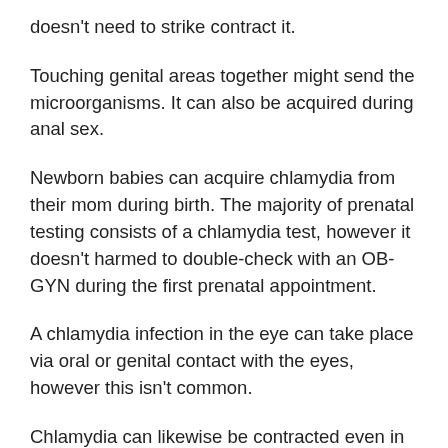doesn't need to strike contract it.
Touching genital areas together might send the microorganisms. It can also be acquired during anal sex.
Newborn babies can acquire chlamydia from their mom during birth. The majority of prenatal testing consists of a chlamydia test, however it doesn't harmed to double-check with an OB-GYN during the first prenatal appointment.
A chlamydia infection in the eye can take place via oral or genital contact with the eyes, however this isn't common.
Chlamydia can likewise be contracted even in somebody that's had the infection as soon as in